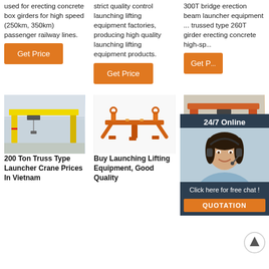used for erecting concrete box girders for high speed (250km, 350km) passenger railway lines.
Get Price
strict quality control launching lifting equipment factories, producing high quality launching lifting equipment products.
Get Price
300T bridge erection beam launcher equipment ... trussed type 260T girder erecting concrete high-sp...
Get P...
[Figure (photo): Yellow gantry single-girder overhead crane inside a large industrial warehouse]
200 Ton Truss Type Launcher Crane Prices In Vietnam
[Figure (photo): Orange launching lifting equipment spreader beam / lifting frame on white background]
Buy Launching Lifting Equipment, Good Quality
[Figure (photo): Orange/brown gantry crane structure outdoors against rocky hillside]
Gantry Crane NRS BRIDGE CONSTRUCTION EQUIPMENT
[Figure (other): 24/7 Online chat widget overlay showing a customer service representative with headset, with 'Click here for free chat!' and QUOTATION button]